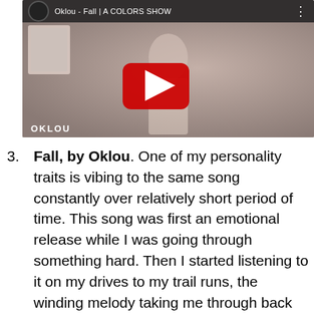[Figure (screenshot): YouTube video thumbnail for 'Oklou - Fall | A COLORS SHOW' showing a young woman in a light floral dress against a taupe background, with a red YouTube play button overlay and 'OKLOU' text in the lower left.]
Fall, by Oklou. One of my personality traits is vibing to the same song constantly over relatively short period of time. This song was first an emotional release while I was going through something hard. Then I started listening to it on my drives to my trail runs, the winding melody taking me through back roads. The associations have blended now and I put this song on whenever I need to fully fuse with